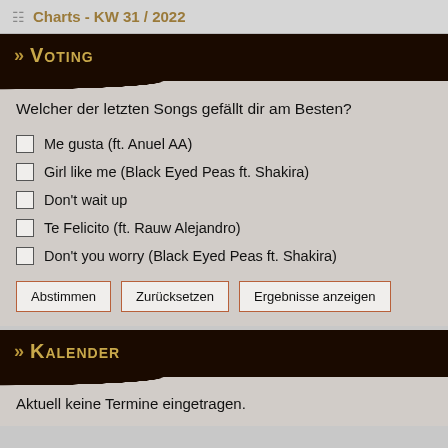Charts - KW 31 / 2022
>> Voting
Welcher der letzten Songs gefällt dir am Besten?
Me gusta (ft. Anuel AA)
Girl like me (Black Eyed Peas ft. Shakira)
Don't wait up
Te Felicito (ft. Rauw Alejandro)
Don't you worry (Black Eyed Peas ft. Shakira)
Abstimmen | Zurücksetzen | Ergebnisse anzeigen
>> Kalender
Aktuell keine Termine eingetragen.